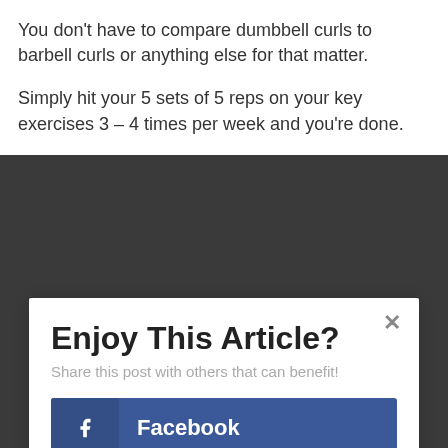You don't have to compare dumbbell curls to barbell curls or anything else for that matter.
Simply hit your 5 sets of 5 reps on your key exercises 3 – 4 times per week and you're done.
Enjoy This Article?
Share this post with others that can benefit!
Facebook
Twitter
Google+
Pinterest